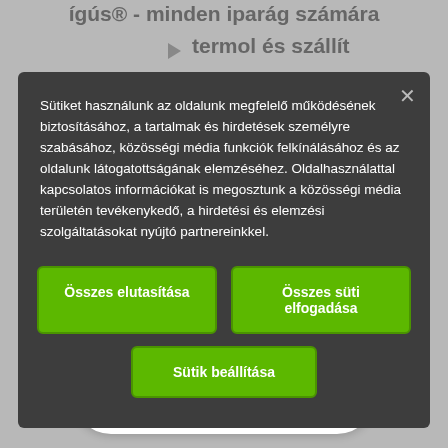ígús® - minden iparág számára termol és szállít
Sütiket használunk az oldalunk megfelelő működésének biztosításához, a tartalmak és hirdetések személyre szabásához, közösségi média funkciók felkínálásához és az oldalunk látogatottságának elemzéséhez. Oldalhasználattal kapcsolatos információkat is megosztunk a közösségi média területén tevékenykedő, a hirdetési és elemzési szolgáltatásokat nyújtó partnereinkkel.
Összes elutasítása
Összes süti elfogadása
Sütik beállítása
javítását célzó felmérésünkben
Website Feedback
Vállalat
Chateljen most